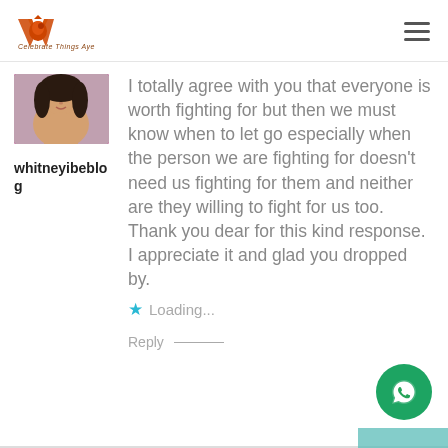Warrinot - Celebrate, Things Aye [logo with tagline]
[Figure (photo): Profile avatar photo of a woman with dark hair]
whitneyibeblog
I totally agree with you that everyone is worth fighting for but then we must know when to let go especially when the person we are fighting for doesn't need us fighting for them and neither are they willing to fight for us too. Thank you dear for this kind response. I appreciate it and glad you dropped by.
Loading...
Reply